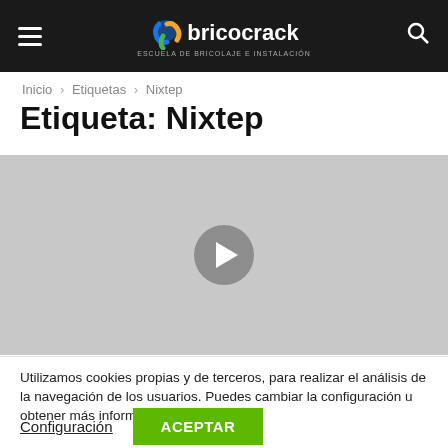bricocrack — ESCUELA DE BRICOLAJE E INSTALACIÓN
Inicio › Etiquetas › Nixtep
Etiqueta: Nixtep
[Figure (other): Video player placeholder with gray background and a circular play button in the center]
Utilizamos cookies propias y de terceros, para realizar el análisis de la navegación de los usuarios. Puedes cambiar la configuración u obtener más información.
Configuración   ACEPTAR